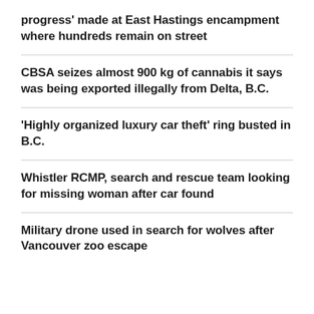progress' made at East Hastings encampment where hundreds remain on street
CBSA seizes almost 900 kg of cannabis it says was being exported illegally from Delta, B.C.
'Highly organized luxury car theft' ring busted in B.C.
Whistler RCMP, search and rescue team looking for missing woman after car found
Military drone used in search for wolves after Vancouver zoo escape